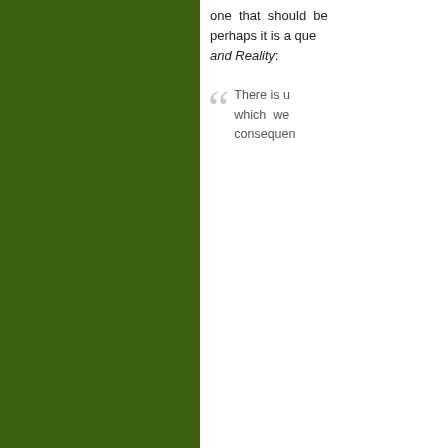one that should be... perhaps it is a que... and Reality:
There is u... which we... consequen...
Aug 21, 2014 9:00:0...
Comm...
4 Comment...